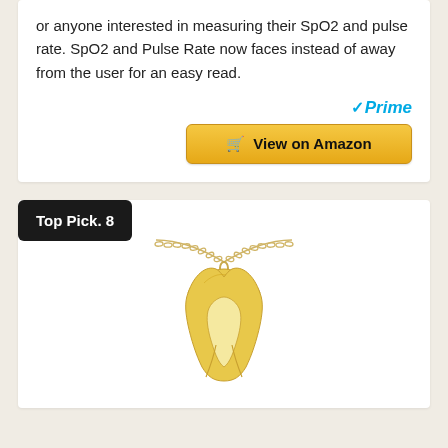or anyone interested in measuring their SpO2 and pulse rate. SpO2 and Pulse Rate now faces instead of away from the user for an easy read.
[Figure (logo): Amazon Prime logo with blue checkmark and italic blue Prime text]
[Figure (screenshot): Golden yellow View on Amazon button with shopping cart icon]
Top Pick. 8
[Figure (photo): Gold tooth-shaped pendant necklace with chain, molar shape with hollow center on white background]